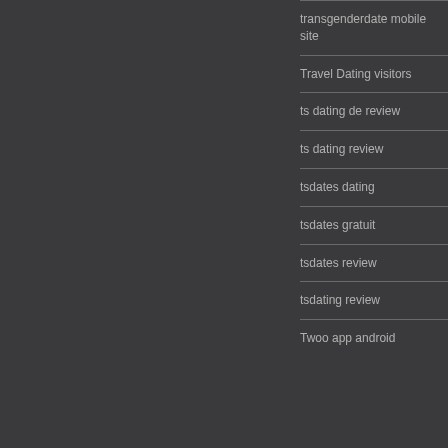transgenderdate mobile site
Travel Dating visitors
ts dating de review
ts dating review
tsdates dating
tsdates gratuit
tsdates review
tsdating review
Twoo app android